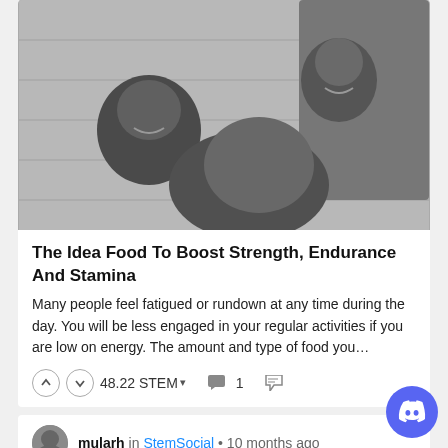[Figure (photo): Black and white selfie photo of three young men smiling together outdoors near a textured concrete wall]
The Idea Food To Boost Strength, Endurance And Stamina
Many people feel fatigued or rundown at any time during the day. You will be less engaged in your regular activities if you are low on energy. The amount and type of food you...
48.22 STEM ▾  1
mularh in StemSocial • 10 months ago